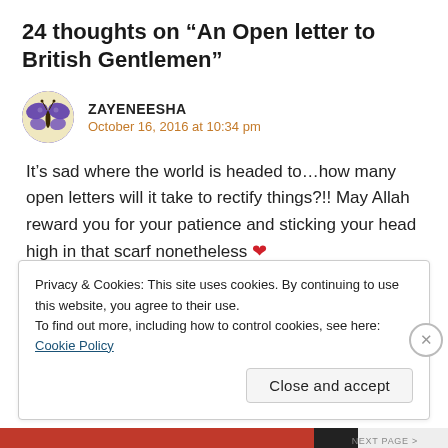24 thoughts on “An Open letter to British Gentlemen”
ZAYENEESHA
October 16, 2016 at 10:34 pm
It’s sad where the world is headed to…how many open letters will it take to rectify things?!! May Allah reward you for your patience and sticking your head high in that scarf nonetheless ❤
Privacy & Cookies: This site uses cookies. By continuing to use this website, you agree to their use.
To find out more, including how to control cookies, see here: Cookie Policy
Close and accept